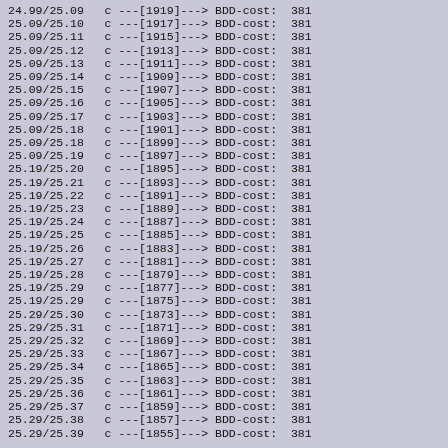24.99/25.09   c ---[1919]---> BDD-cost:  381
25.09/25.10   c ---[1917]---> BDD-cost:  381
25.09/25.11   c ---[1915]---> BDD-cost:  381
25.09/25.12   c ---[1913]---> BDD-cost:  381
25.09/25.13   c ---[1911]---> BDD-cost:  381
25.09/25.14   c ---[1909]---> BDD-cost:  381
25.09/25.15   c ---[1907]---> BDD-cost:  381
25.09/25.16   c ---[1905]---> BDD-cost:  381
25.09/25.17   c ---[1903]---> BDD-cost:  381
25.09/25.18   c ---[1901]---> BDD-cost:  381
25.09/25.18   c ---[1899]---> BDD-cost:  381
25.09/25.19   c ---[1897]---> BDD-cost:  381
25.19/25.20   c ---[1895]---> BDD-cost:  381
25.19/25.21   c ---[1893]---> BDD-cost:  381
25.19/25.22   c ---[1891]---> BDD-cost:  381
25.19/25.23   c ---[1889]---> BDD-cost:  381
25.19/25.24   c ---[1887]---> BDD-cost:  381
25.19/25.25   c ---[1885]---> BDD-cost:  381
25.19/25.26   c ---[1883]---> BDD-cost:  381
25.19/25.27   c ---[1881]---> BDD-cost:  381
25.19/25.28   c ---[1879]---> BDD-cost:  381
25.19/25.29   c ---[1877]---> BDD-cost:  381
25.19/25.29   c ---[1875]---> BDD-cost:  381
25.29/25.30   c ---[1873]---> BDD-cost:  381
25.29/25.31   c ---[1871]---> BDD-cost:  381
25.29/25.32   c ---[1869]---> BDD-cost:  381
25.29/25.33   c ---[1867]---> BDD-cost:  381
25.29/25.34   c ---[1865]---> BDD-cost:  381
25.29/25.35   c ---[1863]---> BDD-cost:  381
25.29/25.36   c ---[1861]---> BDD-cost:  381
25.29/25.37   c ---[1859]---> BDD-cost:  381
25.29/25.38   c ---[1857]---> BDD-cost:  381
25.29/25.39   c ---[1855]---> BDD-cost:  381